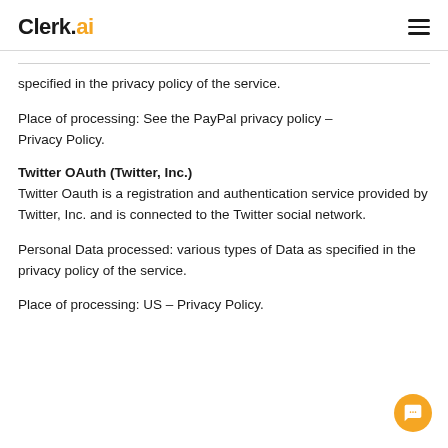Clerk.ai
specified in the privacy policy of the service.
Place of processing: See the PayPal privacy policy – Privacy Policy.
Twitter OAuth (Twitter, Inc.)
Twitter Oauth is a registration and authentication service provided by Twitter, Inc. and is connected to the Twitter social network.
Personal Data processed: various types of Data as specified in the privacy policy of the service.
Place of processing: US – Privacy Policy.